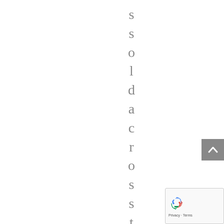ssoldacrosthewor
[Figure (other): Scroll-to-top button (grey arrow pointing up)]
[Figure (other): reCAPTCHA widget with recycling-arrows logo and Privacy/Terms text]